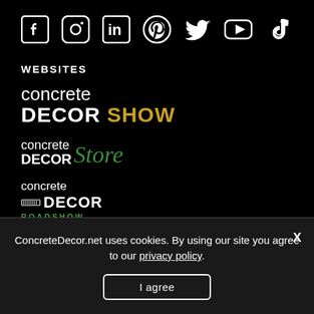[Figure (logo): Row of social media icons: Facebook, Instagram, LinkedIn, Pinterest, Twitter/X, YouTube, TikTok — all white on black background]
WEBSITES
[Figure (logo): Concrete Decor Show logo: 'concrete' in white light weight, 'DECOR' in white bold, 'SHOW' in gold/yellow bold]
[Figure (logo): Concrete Decor Store logo: 'concrete' and 'DECOR' in white, 'Store' in green italic script]
[Figure (logo): Concrete Decor Roadshow logo: 'concrete' in white light, 'DECOR' in white bold with small road icon, 'ROADSHOW' in green spaced letters]
ConcreteDecor.net uses cookies. By using our site you agree to our privacy policy.
I agree